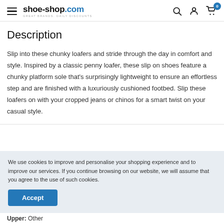shoe-shop.com — Great brands. Daily discounts.
Description
Slip into these chunky loafers and stride through the day in comfort and style. Inspired by a classic penny loafer, these slip on shoes feature a chunky platform sole that's surprisingly lightweight to ensure an effortless step and are finished with a luxuriously cushioned footbed. Slip these loafers on with your cropped jeans or chinos for a smart twist on your casual style.
We use cookies to improve and personalise your shopping experience and to improve our services. If you continue browsing on our website, we will assume that you agree to the use of such cookies.
Upper: Other